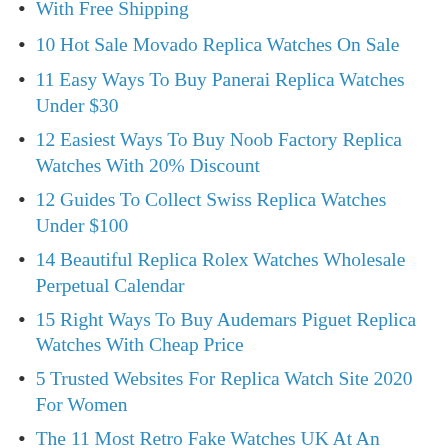With Free Shipping (truncated at top)
10 Hot Sale Movado Replica Watches On Sale
11 Easy Ways To Buy Panerai Replica Watches Under $30
12 Easiest Ways To Buy Noob Factory Replica Watches With 20% Discount
12 Guides To Collect Swiss Replica Watches Under $100
14 Beautiful Replica Rolex Watches Wholesale Perpetual Calendar
15 Right Ways To Buy Audemars Piguet Replica Watches With Cheap Price
5 Trusted Websites For Replica Watch Site 2020 For Women
The 11 Most Retro Fake Watches UK At An Affordable Price
The 6 Best China Richard Mille Replica (truncated at bottom)